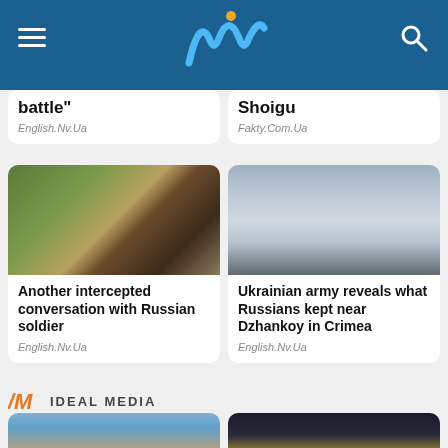UN (Ukrainian News) header with logo, hamburger menu, and search icon
battle"
English.Nv.Ua
Shoigu
Fakty.Com.Ua
[Figure (photo): Burned/destroyed military vehicle or tank wreckage on a dirt road with green field background]
Another intercepted conversation with Russian soldier
English.Nv.Ua
[Figure (photo): Cloudy/smoky sky with dark smoke]
Ukrainian army reveals what Russians kept near Dzhankoy in Crimea
English.Nv.Ua
IDEAL MEDIA
[Figure (photo): Woman wearing a dark headscarf against a blue sky background]
[Figure (photo): Two people under chandelier lights in a dimly lit interior]